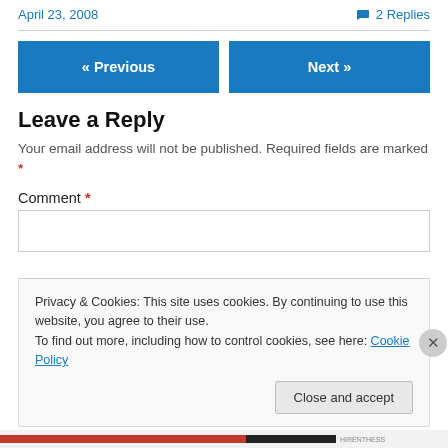April 23, 2008   2 Replies
« Previous   Next »
Leave a Reply
Your email address will not be published. Required fields are marked *
Comment *
Privacy & Cookies: This site uses cookies. By continuing to use this website, you agree to their use.
To find out more, including how to control cookies, see here: Cookie Policy
Close and accept